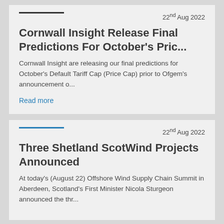22nd Aug 2022
Cornwall Insight Release Final Predictions For October's Pric...
Cornwall Insight are releasing our final predictions for October's Default Tariff Cap (Price Cap) prior to Ofgem's announcement o...
Read more
22nd Aug 2022
Three Shetland ScotWind Projects Announced
At today's (August 22) Offshore Wind Supply Chain Summit in Aberdeen, Scotland's First Minister Nicola Sturgeon announced the thr...